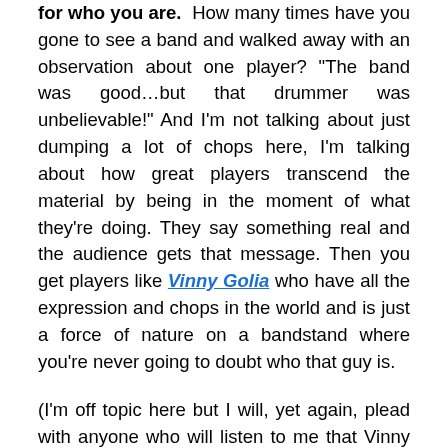for who you are. How many times have you gone to see a band and walked away with an observation about one player? "The band was good…but that drummer was unbelievable!" And I'm not talking about just dumping a lot of chops here, I'm talking about how great players transcend the material by being in the moment of what they're doing. They say something real and the audience gets that message. Then you get players like Vinny Golia who have all the expression and chops in the world and is just a force of nature on a bandstand where you're never going to doubt who that guy is.
(I'm off topic here but I will, yet again, plead with anyone who will listen to me that Vinny Golia is one of the closest things that we have to a national treasure and I can think of no one in the arts more deserving of a MacArthur fellowship than him. Please tell all your friends –